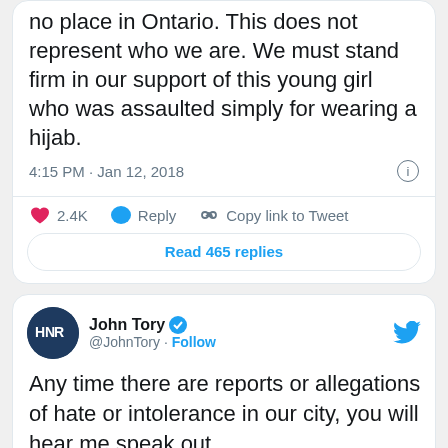[Figure (screenshot): Partial Twitter/X tweet card showing tweet text ending with '...no place in Ontario. This does not represent who we are. We must stand firm in our support of this young girl who was assaulted simply for wearing a hijab.' with timestamp 4:15 PM · Jan 12, 2018, and action bar showing 2.4K likes, Reply, Copy link to Tweet, and Read 465 replies button.]
[Figure (screenshot): Twitter/X tweet card from John Tory (@JohnTory) with verified badge. Tweet text: 'Any time there are reports or allegations of hate or intolerance in our city, you will hear me speak out. In this case, Toronto Police have investigated and determined that the events described did not happen...' (cut off)]